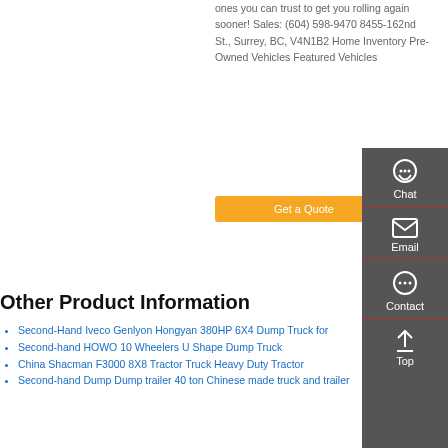ones you can trust to get you rolling again sooner! Sales: (604) 598-9470 8455-162nd St., Surrey, BC, V4N1B2 Home Inventory Pre-Owned Vehicles Featured Vehicles
[Figure (other): Orange 'Get a Quote' button]
[Figure (other): Dark grey sidebar with Chat, Email, Contact, and Top icons/buttons]
Other Product Information
Second-Hand Iveco Genlyon Hongyan 380HP 6X4 Dump Truck for
Second-hand HOWO 10 Wheelers U Shape Dump Truck
China Shacman F3000 8X8 Tractor Truck Heavy Duty Tractor
Second-hand Dump Dump trailer 40 ton Chinese made truck and trailer